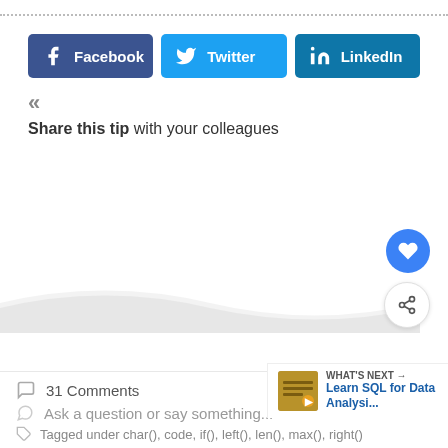[Figure (other): Dotted horizontal separator line at top of page]
[Figure (other): Social share buttons: Facebook (dark blue), Twitter (blue), LinkedIn (teal)]
«
Share this tip with your colleagues
[Figure (other): Wave/curved background separator graphic]
[Figure (other): Heart FAB button (blue circle with heart icon)]
[Figure (other): Share FAB button (white circle with share icon)]
31 Comments
Ask a question or say something...
Tagged under char(), code, if(), left(), len(), max(), right()
[Figure (other): WHAT'S NEXT → Learn SQL for Data Analysi... callout with thumbnail]